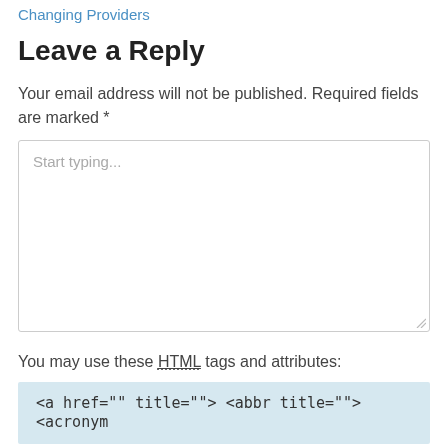Changing Providers
Leave a Reply
Your email address will not be published. Required fields are marked *
[Figure (other): Text area input box with placeholder text 'Start typing...']
You may use these HTML tags and attributes:
<a href="" title=""> <abbr title=""> <acronym